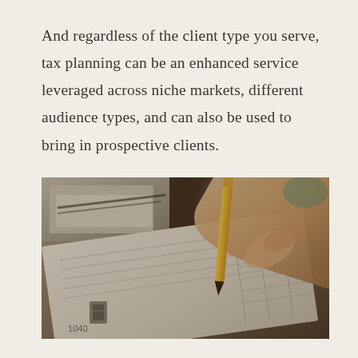And regardless of the client type you serve, tax planning can be an enhanced service leveraged across niche markets, different audience types, and can also be used to bring in prospective clients.
[Figure (photo): Close-up photograph of a hand holding a pencil and filling out a tax form (1040), with papers and a binder clip visible on a desk.]